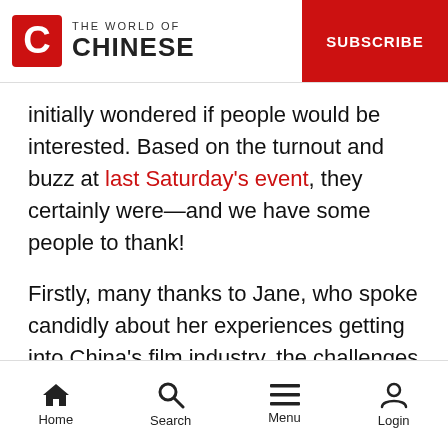THE WORLD OF CHINESE | SUBSCRIBE
initially wondered if people would be interested. Based on the turnout and buzz at last Saturday's event, they certainly were—and we have some people to thank!
Firstly, many thanks to Jane, who spoke candidly about her experiences getting into China's film industry, the challenges of Sino-US co-productions (spoiler: censorship is a sore spot), and provided interesting behind-the-scenes tidbits from the movie. She even brought a copy of the film to show attendees some clips ahead of its release in China next January.
Home  Search  Menu  Login